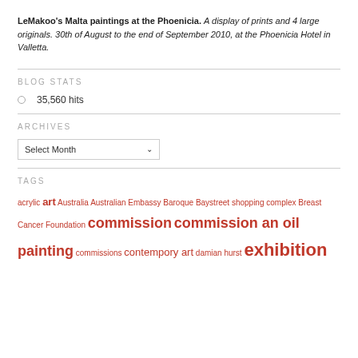LeMakoo's Malta paintings at the Phoenicia. A display of prints and 4 large originals. 30th of August to the end of September 2010, at the Phoenicia Hotel in Valletta.
BLOG STATS
35,560 hits
ARCHIVES
Select Month
TAGS
acrylic art Australia Australian Embassy Baroque Baystreet shopping complex Breast Cancer Foundation commission commission an oil painting commissions contempory art damian hurst exhibition